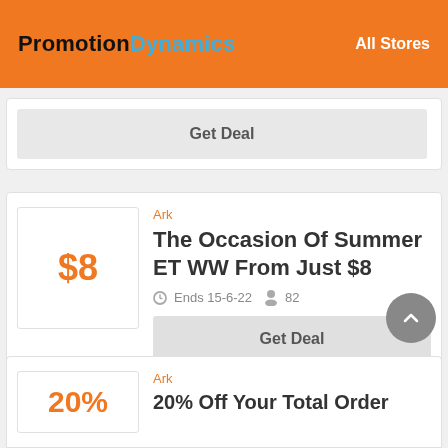PromotionDynamics  All Stores
Get Deal
Ark
The Occasion Of Summer ET WW From Just $8
Ends 15-6-22  82
Get Deal
Ark
20% Off Your Total Order